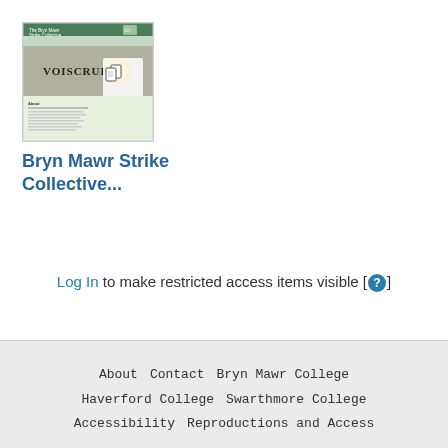[Figure (screenshot): Thumbnail screenshot of the Bryn Mawr Strike Collective website showing a green header bar, a banner image with text 'VOISCRUF...' and document icons, and a light green content area below.]
Bryn Mawr Strike Collective...
Log In to make restricted access items visible [ ? ]
About   Contact   Bryn Mawr College   Haverford College   Swarthmore College   Accessibility   Reproductions and Access